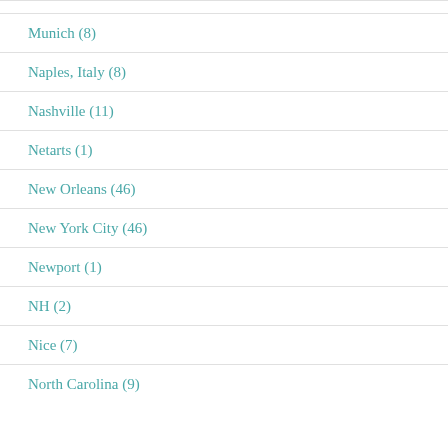Munich (8)
Naples, Italy (8)
Nashville (11)
Netarts (1)
New Orleans (46)
New York City (46)
Newport (1)
NH (2)
Nice (7)
North Carolina (9)